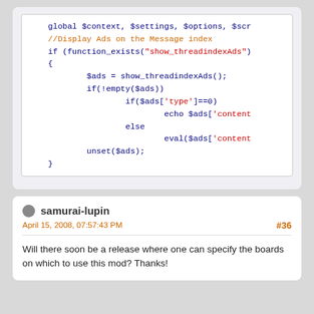[Figure (screenshot): Code block showing PHP snippet with syntax highlighting. Lines include: global $context, $settings, $options, $scr; //Display Ads on the Message index; if (function_exists('show_threadindexAds')) { $ads = show_threadindexAds(); if(!empty($ads)) if($ads['type']==0) echo $ads['content'] else eval($ads['content'] unset($ads); }]
samurai-lupin
April 15, 2008, 07:57:43 PM
#36
Will there soon be a release where one can specify the boards on which to use this mod? Thanks!